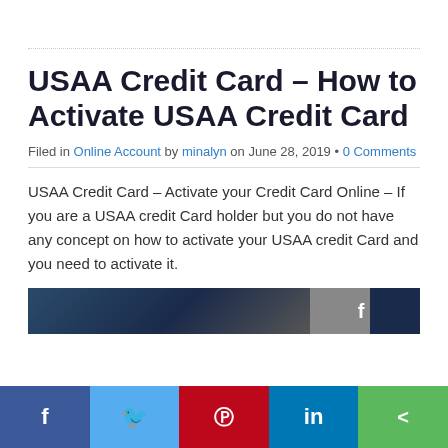USAA Credit Card – How to Activate USAA Credit Card
Filed in Online Account by minalyn on June 28, 2019 • 0 Comments
USAA Credit Card – Activate your Credit Card Online – If you are a USAA credit Card holder but you do not have any concept on how to activate your USAA credit Card and you need to activate it.
[Figure (photo): Partial USAA credit card image with social media share icons overlay]
f  (Twitter bird)  (Pinterest P)  in  (share icon)